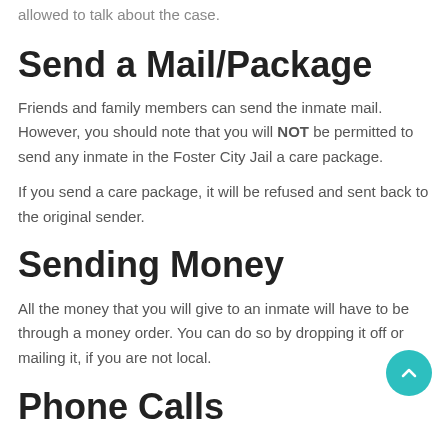allowed to talk about the case.
Send a Mail/Package
Friends and family members can send the inmate mail. However, you should note that you will NOT be permitted to send any inmate in the Foster City Jail a care package.
If you send a care package, it will be refused and sent back to the original sender.
Sending Money
All the money that you will give to an inmate will have to be through a money order. You can do so by dropping it off or mailing it, if you are not local.
Phone Calls